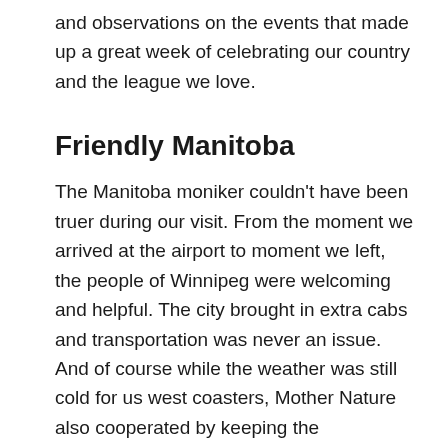and observations on the events that made up a great week of celebrating our country and the league we love.
Friendly Manitoba
The Manitoba moniker couldn't have been truer during our visit. From the moment we arrived at the airport to moment we left, the people of Winnipeg were welcoming and helpful. The city brought in extra cabs and transportation was never an issue. And of course while the weather was still cold for us west coasters, Mother Nature also cooperated by keeping the temperatures tolerable.
There is something about Grey Cups on the prairies, and this one was no exception. A huge